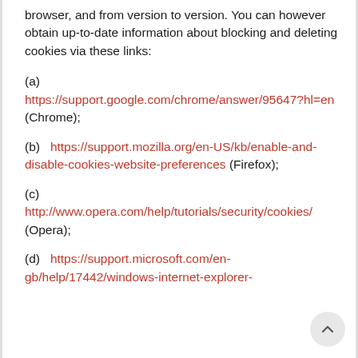browser, and from version to version. You can however obtain up-to-date information about blocking and deleting cookies via these links:
(a) https://support.google.com/chrome/answer/95647?hl=en (Chrome);
(b) https://support.mozilla.org/en-US/kb/enable-and-disable-cookies-website-preferences (Firefox);
(c) http://www.opera.com/help/tutorials/security/cookies/ (Opera);
(d) https://support.microsoft.com/en-gb/help/17442/windows-internet-explorer-